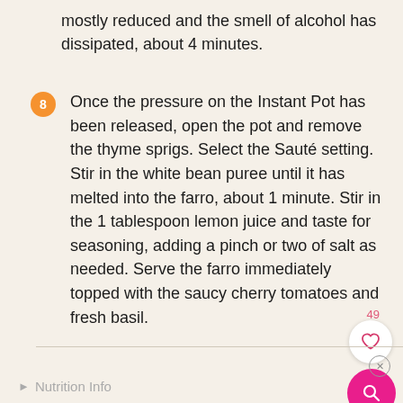mostly reduced and the smell of alcohol has dissipated, about 4 minutes.
8 Once the pressure on the Instant Pot has been released, open the pot and remove the thyme sprigs. Select the Sauté setting. Stir in the white bean puree until it has melted into the farro, about 1 minute. Stir in the 1 tablespoon lemon juice and taste for seasoning, adding a pinch or two of salt as needed. Serve the farro immediately topped with the saucy cherry tomatoes and fresh basil.
Nutrition Info